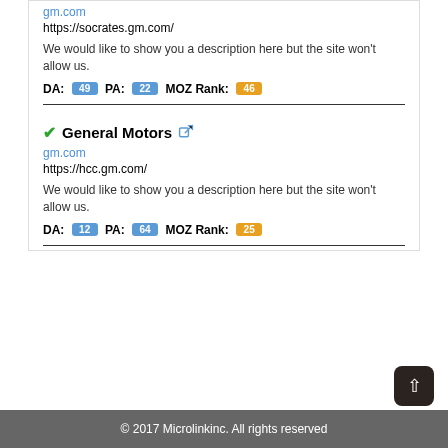gm.com
https://socrates.gm.com/
We would like to show you a description here but the site won't allow us.
DA: 49 PA: 22 MOZ Rank: 46
General Motors
gm.com
https://hcc.gm.com/
We would like to show you a description here but the site won't allow us.
DA: 12 PA: 64 MOZ Rank: 25
© 2017 Microlinkinc. All rights reserved